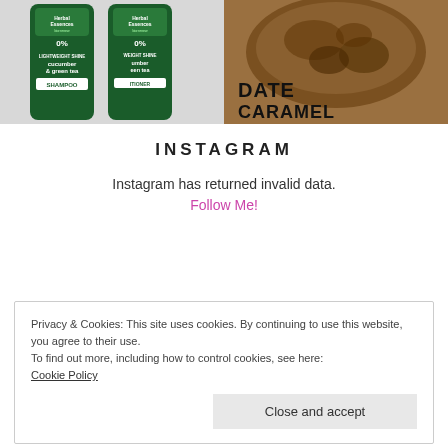[Figure (photo): Two Herbal Essences shampoo and conditioner bottles (cucumber & green tea) on white background]
[Figure (photo): Close-up of date caramel in a bowl with text DATE CARAMEL partially visible]
INSTAGRAM
Instagram has returned invalid data.
Follow Me!
Privacy & Cookies: This site uses cookies. By continuing to use this website, you agree to their use.
To find out more, including how to control cookies, see here:
Cookie Policy
Close and accept